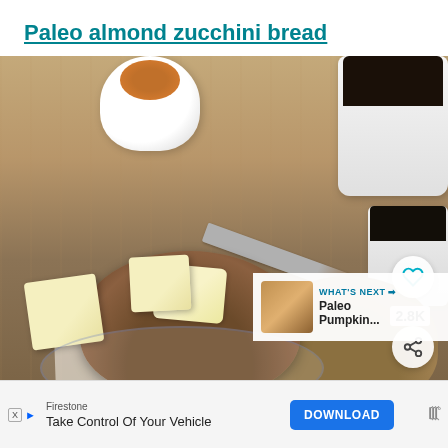Paleo almond zucchini bread
[Figure (photo): Photo of paleo almond zucchini bread slices on a blue and white plate with butter, a butter knife, and two mugs of coffee in the background. A heart/save button showing 2.8K saves and a share button are overlaid on the photo. A 'What's Next: Paleo Pumpkin...' overlay appears in the lower right corner of the photo.]
Firestone
Take Control Of Your Vehicle
DOWNLOAD